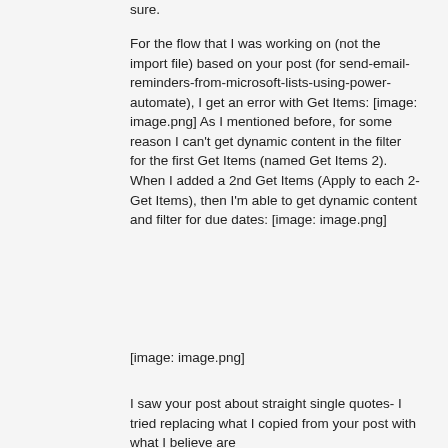sure.
For the flow that I was working on (not the import file) based on your post (for send-email-reminders-from-microsoft-lists-using-power-automate), I get an error with Get Items: [image: image.png] As I mentioned before, for some reason I can't get dynamic content in the filter for the first Get Items (named Get Items 2). When I added a 2nd Get Items (Apply to each 2- Get Items), then I'm able to get dynamic content and filter for due dates: [image: image.png]
[image: image.png]
I saw your post about straight single quotes- I tried replacing what I copied from your post with what I believe are